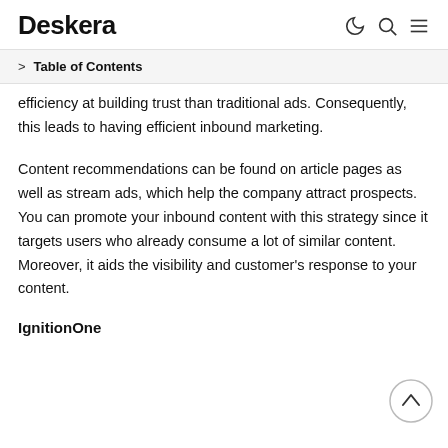Deskera
Table of Contents
efficiency at building trust than traditional ads. Consequently, this leads to having efficient inbound marketing.
Content recommendations can be found on article pages as well as stream ads, which help the company attract prospects. You can promote your inbound content with this strategy since it targets users who already consume a lot of similar content. Moreover, it aids the visibility and customer's response to your content.
IgnitionOne